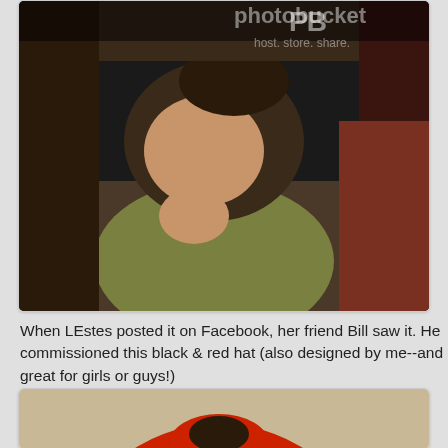[Figure (photo): A person sitting indoors, resting their chin on their hand, wearing a dark hat with a design. A Photobucket watermark is visible in the upper right.]
When LEstes posted it on Facebook, her friend Bill saw it. He commissioned this black & red hat (also designed by me--and great for girls or guys!)
[Figure (photo): A red and black crocheted hat displayed from above, showing a spiral/diagonal stripe pattern in red and dark brown/black yarn. A small decorative item with a face is visible in the lower right corner.]